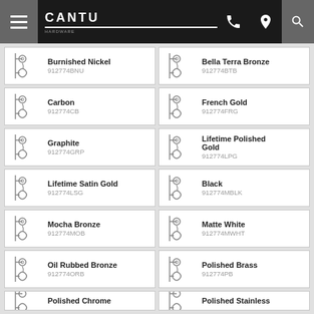CANTU
Burnished Nickel 912774BNU
Bella Terra Bronze 912774BTB
Carbon 912774CB
French Gold 912774FRG
Graphite 912774GRP
Lifetime Polished Gold 912774LPG
Lifetime Satin Gold 912774LSG
Black 912774MBLK
Mocha Bronze 912774MOB
Matte White 912774MWHT
Oil Rubbed Bronze 912774ORB
Polished Brass 912774PB
Polished Chrome (partial)
Polished Stainless (partial)